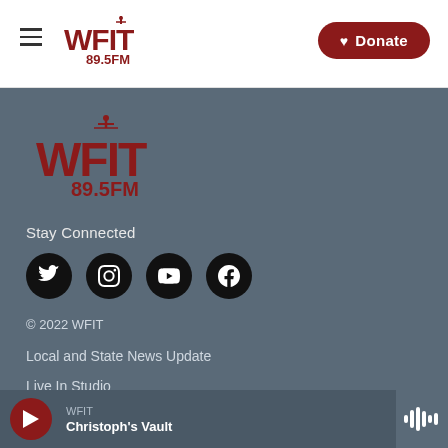[Figure (logo): WFIT 89.5FM radio station logo in header]
Donate
[Figure (logo): WFIT 89.5FM radio station logo in footer]
Stay Connected
[Figure (infographic): Social media icons row: Twitter, Instagram, YouTube, Facebook]
© 2022 WFIT
Local and State News Update
Live In Studio
WFIT
Christoph's Vault